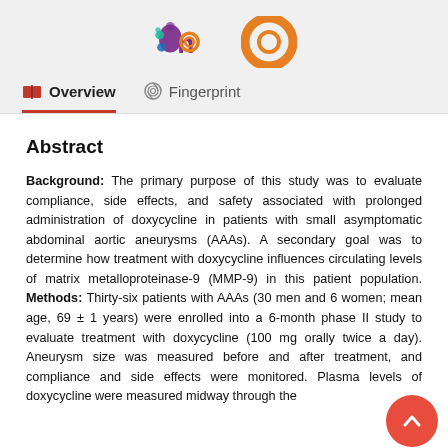[Figure (logo): Two logos side by side: a purple and teal logo on the left and an orange circular logo on the right]
Overview   Fingerprint
Abstract
Background: The primary purpose of this study was to evaluate compliance, side effects, and safety associated with prolonged administration of doxycycline in patients with small asymptomatic abdominal aortic aneurysms (AAAs). A secondary goal was to determine how treatment with doxycycline influences circulating levels of matrix metalloproteinase-9 (MMP-9) in this patient population. Methods: Thirty-six patients with AAAs (30 men and 6 women; mean age, 69 ± 1 years) were enrolled into a 6-month phase II study to evaluate treatment with doxycycline (100 mg orally twice a day). Aneurysm size was measured before and after treatment, and compliance and side effects were monitored. Plasma levels of doxycycline were measured midway through the